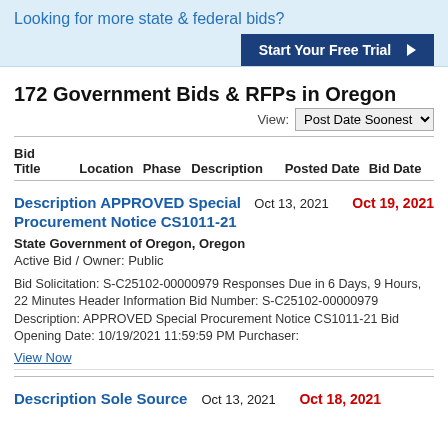Looking for more state & federal bids?
Start Your Free Trial ▶
172 Government Bids & RFPs in Oregon
View: Post Date Soonest
| Bid Title | Location | Phase | Description | Posted Date | Bid Date |
| --- | --- | --- | --- | --- | --- |
Description APPROVED Special Procurement Notice CS1011-21   Oct 13, 2021   Oct 19, 2021
State Government of Oregon, Oregon
Active Bid / Owner: Public
Bid Solicitation: S-C25102-00000979 Responses Due in 6 Days, 9 Hours, 22 Minutes Header Information Bid Number: S-C25102-00000979 Description: APPROVED Special Procurement Notice CS1011-21 Bid Opening Date: 10/19/2021 11:59:59 PM Purchaser:
View Now
Description Sole Source   Oct 13, 2021   Oct 18, 2021